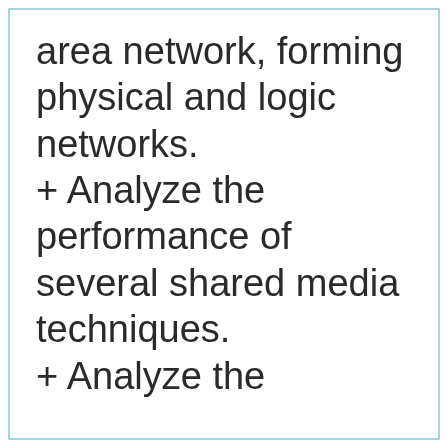area network, forming physical and logic networks.
+ Analyze the performance of several shared media techniques.
+ Analyze the